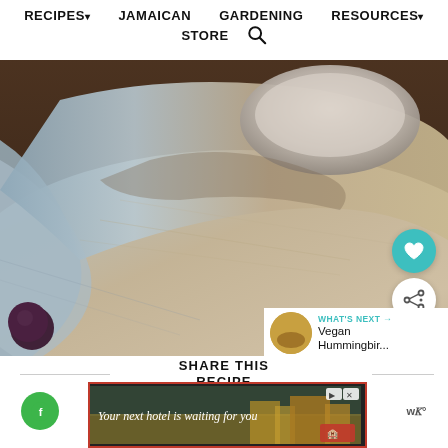RECIPES▾  JAMAICAN  GARDENING  RESOURCES▾  STORE  🔍
[Figure (photo): Close-up photo of a linen or cheesecloth draped over a bowl or mortar, with a dark plum or grape visible at the lower left edge. Warm tones, rustic kitchen setting.]
WHAT'S NEXT → Vegan Hummingbir...
SHARE THIS RECIPE
[Figure (infographic): Advertisement banner: Your next hotel is waiting for you]
▶× Your next hotel is waiting for you